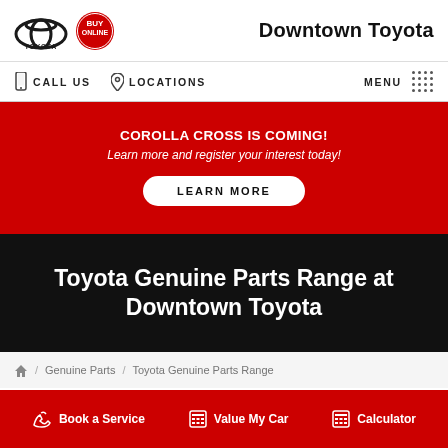Downtown Toyota
CALL US   LOCATIONS   MENU
COROLLA CROSS IS COMING! Learn more and register your interest today! LEARN MORE
Toyota Genuine Parts Range at Downtown Toyota
Home / Genuine Parts / Toyota Genuine Parts Range
Book a Service   Value My Car   Calculator